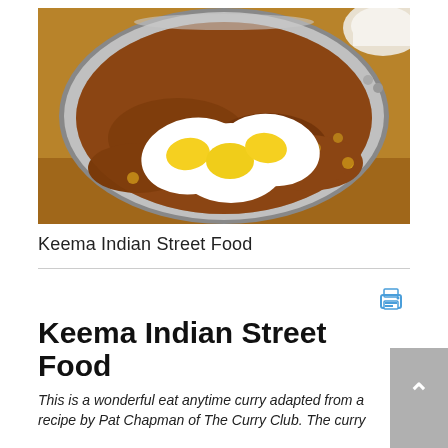[Figure (photo): A metal pan/bowl containing keema curry (spiced minced meat with chickpeas) topped with sliced hard-boiled eggs. A white bowl is visible in the top right corner. The pan has a glass lid edge visible.]
Keema Indian Street Food
Keema Indian Street Food
This is a wonderful eat anytime curry adapted from a recipe by Pat Chapman of The Curry Club. The curry